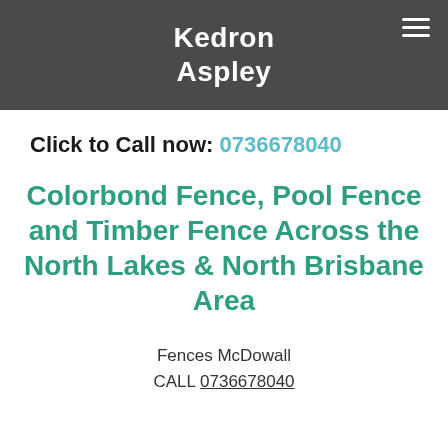Kedron Aspley
Click to Call now: 0736678040
Colorbond Fence, Pool Fence and Timber Fence Across the North Lakes & North Brisbane Area
Fences McDowall
CALL 0736678040